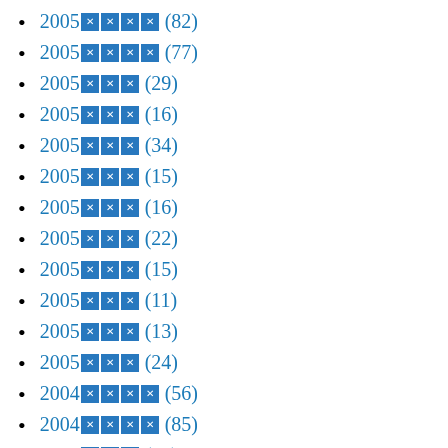2005████ (82)
2005████ (77)
2005███ (29)
2005███ (16)
2005███ (34)
2005███ (15)
2005███ (16)
2005███ (22)
2005███ (15)
2005███ (11)
2005███ (13)
2005███ (24)
2004████ (56)
2004████ (85)
2004███ (99)
2004███ (6)